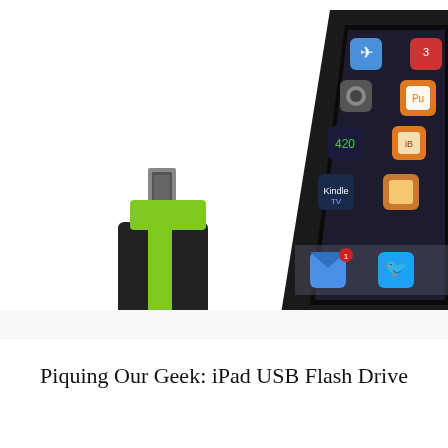[Figure (photo): Photo showing a black and lime-green USB flash drive next to an Apple iPad displaying app icons including Mail, Twitter, Kindle, and others on its screen. The iPad is shown at an angle. The background is white.]
Piquing Our Geek: iPad USB Flash Drive